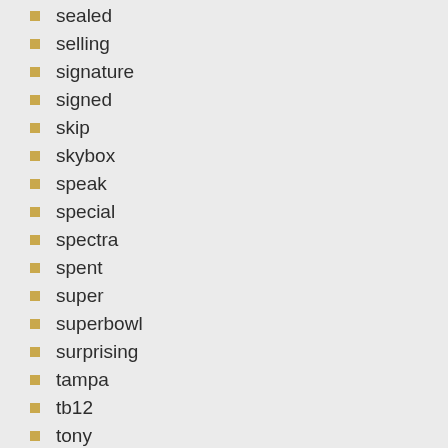sealed
selling
signature
signed
skip
skybox
speak
special
spectra
spent
super
superbowl
surprising
tampa
tb12
tony
topps
tried
triple